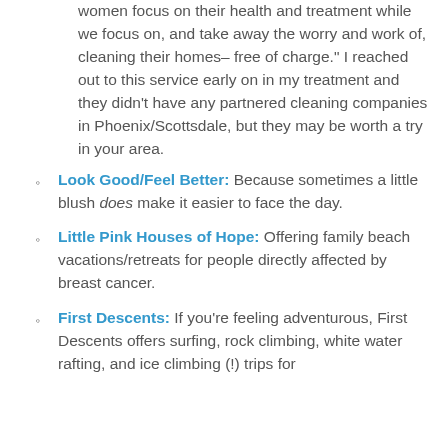women focus on their health and treatment while we focus on, and take away the worry and work of, cleaning their homes– free of charge." I reached out to this service early on in my treatment and they didn't have any partnered cleaning companies in Phoenix/Scottsdale, but they may be worth a try in your area.
Look Good/Feel Better: Because sometimes a little blush does make it easier to face the day.
Little Pink Houses of Hope: Offering family beach vacations/retreats for people directly affected by breast cancer.
First Descents: If you're feeling adventurous, First Descents offers surfing, rock climbing, white water rafting, and ice climbing (!) trips for